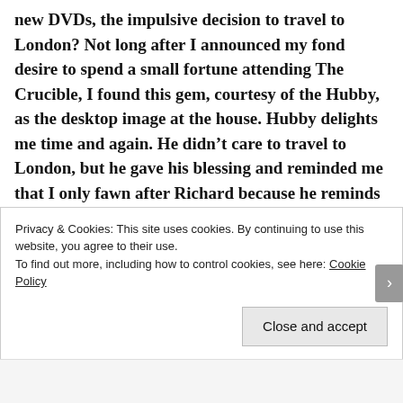new DVDs, the impulsive decision to travel to London? Not long after I announced my fond desire to spend a small fortune attending The Crucible, I found this gem, courtesy of the Hubby, as the desktop image at the house. Hubby delights me time and again. He didn't care to travel to London, but he gave his blessing and reminded me that I only fawn after Richard because he reminds my of my spouse....
Privacy & Cookies: This site uses cookies. By continuing to use this website, you agree to their use. To find out more, including how to control cookies, see here: Cookie Policy